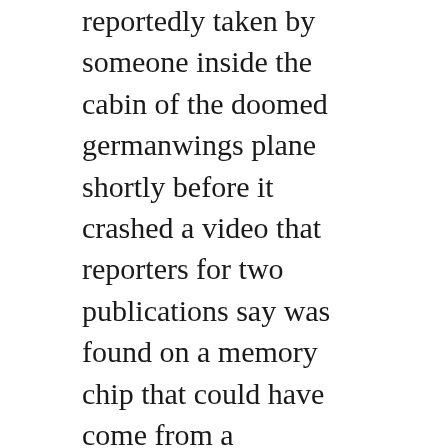reportedly taken by someone inside the cabin of the doomed germanwings plane shortly before it crashed a video that reporters for two publications say was found on a memory chip that could have come from a passengers cellphone. Cnns dan simon shows us a company that says it can recover data from damaged devices. Prosecutor denies reports of cell phone video from inside germanwings crash plane. New video shows site of germanwings plane crash in french. Cell phone video found at the germanwings flight 9525 crash site reveals the sounds of